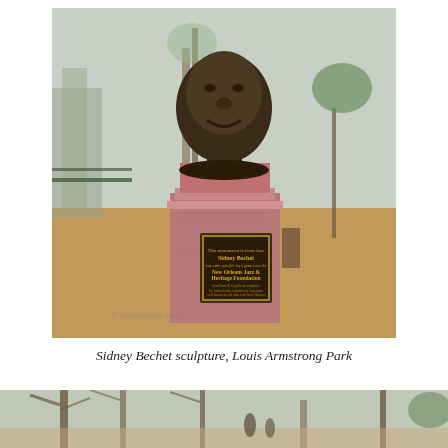[Figure (photo): Bronze bust sculpture of Sidney Bechet on a pink granite pedestal with a commemorative plaque from the New Orleans Jazz & Heritage Foundation, located in Louis Armstrong Park. Trees and park grounds visible in background.]
Sidney Bechet sculpture, Louis Armstrong Park
[Figure (photo): Partial view of another outdoor scene in a park, showing trees and figures, cropped at the bottom of the page.]